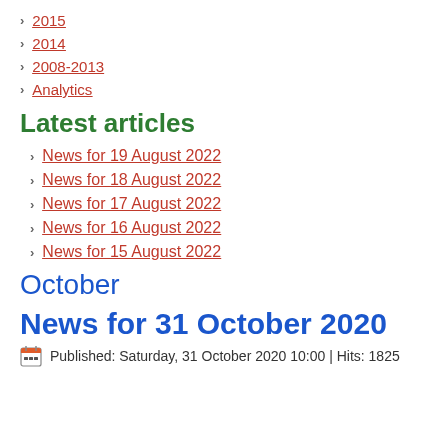2015
2014
2008-2013
Analytics
Latest articles
News for 19 August 2022
News for 18 August 2022
News for 17 August 2022
News for 16 August 2022
News for 15 August 2022
October
News for 31 October 2020
Published: Saturday, 31 October 2020 10:00 | Hits: 1825